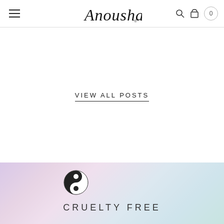Anousha — navigation header with hamburger menu, logo, search, cart, and badge 0
VIEW ALL POSTS
[Figure (logo): Yin-yang style symbol icon and CRUELTY FREE text on pastel gradient background]